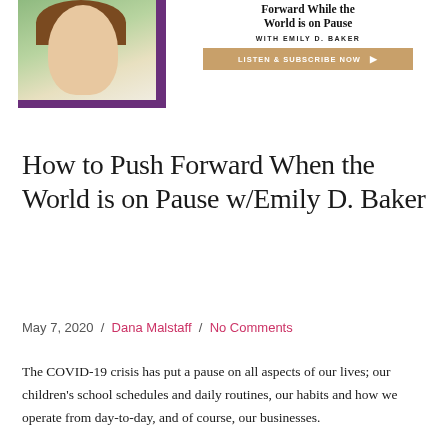[Figure (photo): Banner image with woman smiling and podcast title 'Forward While the World is on Pause with Emily D. Baker' and a 'Listen & Subscribe Now' button]
How to Push Forward When the World is on Pause w/Emily D. Baker
May 7, 2020 / Dana Malstaff / No Comments
The COVID-19 crisis has put a pause on all aspects of our lives; our children's school schedules and daily routines, our habits and how we operate from day-to-day, and of course, our businesses.